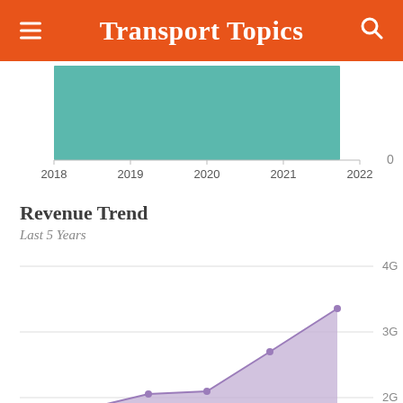Transport Topics
[Figure (bar-chart): Partial bar chart showing teal bars for years 2018-2022, y-axis label 0]
Revenue Trend
Last 5 Years
[Figure (area-chart): Area chart showing revenue trend over last 5 years, rising from ~2G to ~3.3G, purple/lavender fill]